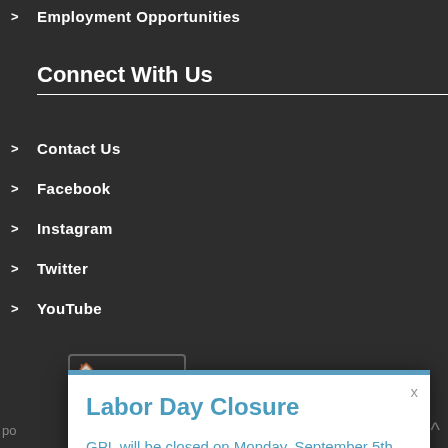Employment Opportunities
Connect With Us
Contact Us
Facebook
Instagram
Twitter
YouTube
Labor Day Closure
GPL will be closed on Monday, September 5th. We will reopen at 9am on Tuesday, September 6th.